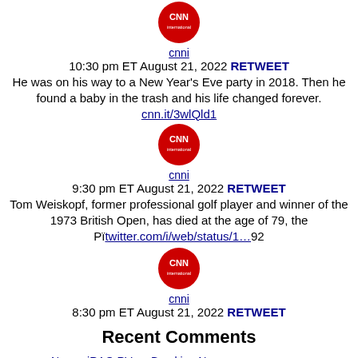[Figure (logo): CNN International red circle logo]
cnni
10:30 pm ET August 21, 2022 RETWEET
He was on his way to a New Year's Eve party in 2018. Then he found a baby in the trash and his life changed forever.
cnn.it/3wlQld1
[Figure (logo): CNN International red circle logo]
cnni
9:30 pm ET August 21, 2022 RETWEET
Tom Weiskopf, former professional golf player and winner of the 1973 British Open, has died at the age of 79, the Pïtwitter.com/i/web/status/1...92
[Figure (logo): CNN International red circle logo]
cnni
8:30 pm ET August 21, 2022 RETWEET
Recent Comments
Name. iRAQ RV on Breaking News
@jmllr16 on Breaking News
Name*JosephBryant on Breaking News
ONLINE PRESS BD on Breaking News
margaretrosemaryrohr on 'Blade runner' Pistorius weeps as he's charged in girlfriend's death